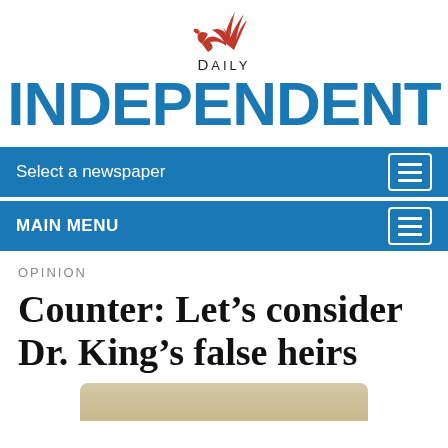Daily Independent
Select a newspaper
MAIN MENU
OPINION
Counter: Let’s consider Dr. King’s false heirs
[Figure (photo): Partial image at bottom of page, appears to be a photo related to the article]